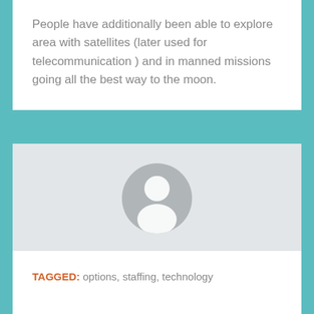People have additionally been able to explore area with satellites (later used for telecommunication ) and in manned missions going all the best way to the moon.
[Figure (illustration): A generic user avatar icon — a circular gray silhouette showing a person's head and shoulders in white on a gray background.]
Author: Frolla
VIEW ALL POSTS
TAGGED: options, staffing, technology